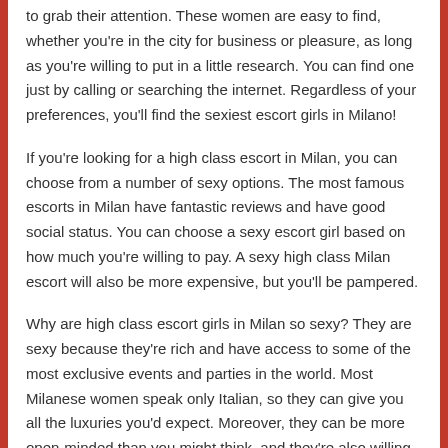to grab their attention. These women are easy to find, whether you're in the city for business or pleasure, as long as you're willing to put in a little research. You can find one just by calling or searching the internet. Regardless of your preferences, you'll find the sexiest escort girls in Milano!
If you're looking for a high class escort in Milan, you can choose from a number of sexy options. The most famous escorts in Milan have fantastic reviews and have good social status. You can choose a sexy escort girl based on how much you're willing to pay. A sexy high class Milan escort will also be more expensive, but you'll be pampered.
Why are high class escort girls in Milan so sexy? They are sexy because they're rich and have access to some of the most exclusive events and parties in the world. Most Milanese women speak only Italian, so they can give you all the luxuries you'd expect. Moreover, they can be more open-minded than you might think, and they're also willing to spend a lot of money on you.